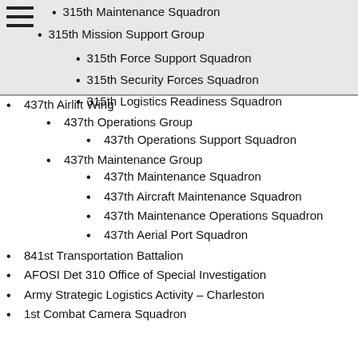315th Maintenance Squadron
315th Mission Support Group
315th Force Support Squadron
315th Security Forces Squadron
315th Logistics Readiness Squadron
437th Airlift Wing
437th Operations Group
437th Operations Support Squadron
437th Maintenance Group
437th Maintenance Squadron
437th Aircraft Maintenance Squadron
437th Maintenance Operations Squadron
437th Aerial Port Squadron
841st Transportation Battalion
AFOSI Det 310 Office of Special Investigation
Army Strategic Logistics Activity – Charleston
1st Combat Camera Squadron